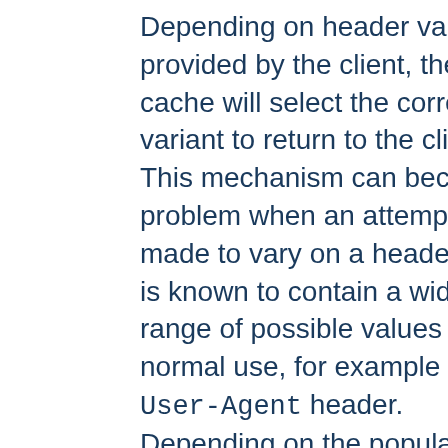Depending on header values provided by the client, the cache will select the correct variant to return to the client. This mechanism can become a problem when an attempt is made to vary on a header that is known to contain a wide range of possible values under normal use, for example the User-Agent header. Depending on the popularity of the particular web site thousands or millions of duplicate cache entries could be created for the same URL, crowding out other entries in the cache.
In other cases, there may be a need to change the URL of a particular